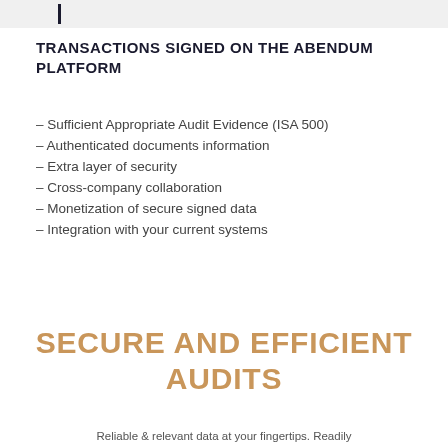TRANSACTIONS SIGNED ON THE ABENDUM PLATFORM
– Sufficient Appropriate Audit Evidence (ISA 500)
– Authenticated documents information
– Extra layer of security
– Cross-company collaboration
– Monetization of secure signed data
– Integration with your current systems
SECURE AND EFFICIENT AUDITS
Reliable & relevant data at your fingertips. Readily